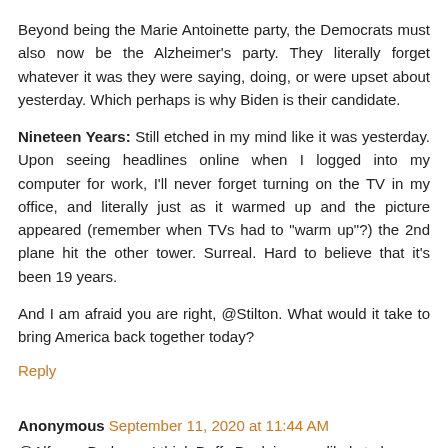Beyond being the Marie Antoinette party, the Democrats must also now be the Alzheimer's party. They literally forget whatever it was they were saying, doing, or were upset about yesterday. Which perhaps is why Biden is their candidate.
Nineteen Years: Still etched in my mind like it was yesterday. Upon seeing headlines online when I logged into my computer for work, I'll never forget turning on the TV in my office, and literally just as it warmed up and the picture appeared (remember when TVs had to "warm up"?) the 2nd plane hit the other tower. Surreal. Hard to believe that it's been 19 years.
And I am afraid you are right, @Stilton. What would it take to bring America back together today?
Reply
Anonymous September 11, 2020 at 11:44 AM
@Alfonso Bedoya - I think Daffy Duck is more likely to be